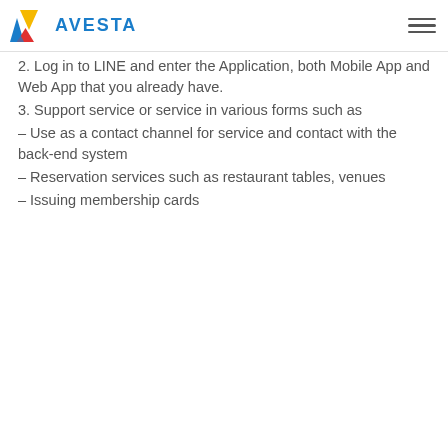AVESTA
2. Log in to LINE and enter the Application, both Mobile App and Web App that you already have.
3. Support service or service in various forms such as
– Use as a contact channel for service and contact with the back-end system
– Reservation services such as restaurant tables, venues
– Issuing membership cards